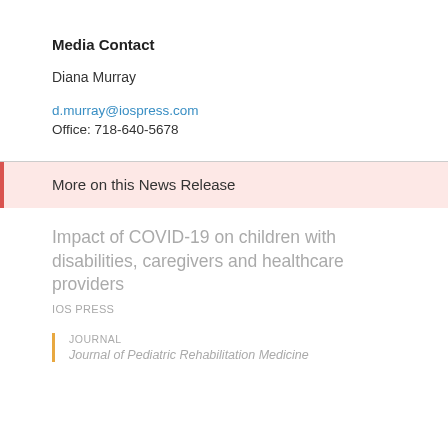Media Contact
Diana Murray
d.murray@iospress.com
Office: 718-640-5678
More on this News Release
Impact of COVID-19 on children with disabilities, caregivers and healthcare providers
IOS PRESS
JOURNAL
Journal of Pediatric Rehabilitation Medicine